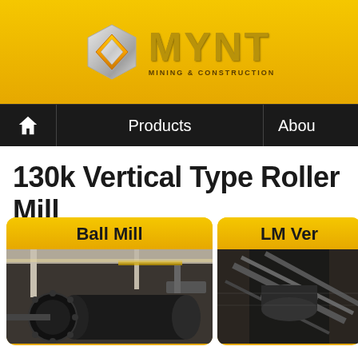[Figure (logo): MYNT Mining & Construction logo — hexagonal silver/chrome icon with orange diamond center, beside gold metallic 'MYNT' text and subtitle 'MINING & CONSTRUCTION', on yellow gradient header bar]
Products | About
130k Vertical Type Roller Mill
[Figure (photo): Ball Mill product card with yellow header label and dark photo of large industrial ball mill with gear mechanism in a factory setting]
[Figure (photo): LM Ver[tical] product card with yellow header label and dark photo of vertical type roller mill machinery, partially visible]